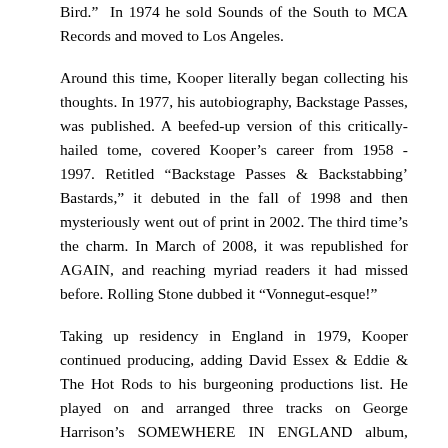Bird.”  In 1974 he sold Sounds of the South to MCA Records and moved to Los Angeles.
Around this time, Kooper literally began collecting his thoughts. In 1977, his autobiography, Backstage Passes, was published. A beefed-up version of this critically-hailed tome, covered Kooper’s career from 1958 - 1997. Retitled "Backstage Passes & Backstabbing' Bastards," it debuted in the fall of 1998 and then mysteriously went out of print in 2002. The third time's the charm. In March of 2008, it was republished for AGAIN, and reaching myriad readers it had missed before. Rolling Stone dubbed it "Vonnegut-esque!"
Taking up residency in England in 1979, Kooper continued producing, adding David Essex & Eddie & The Hot Rods to his burgeoning productions list. He played on and arranged three tracks on George Harrison's SOMEWHERE IN ENGLAND album, performing with the